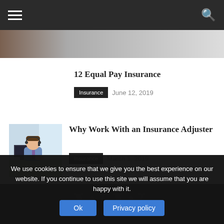Navigation bar with hamburger menu and search icon
12 Equal Pay Insurance
Insurance   June 12, 2019
[Figure (photo): Photo of a man with headset working at a computer desk in an office]
Why Work With an Insurance Adjuster
Insurance   March 1, 2019
We use cookies to ensure that we give you the best experience on our website. If you continue to use this site we will assume that you are happy with it.
Ok   Privacy policy